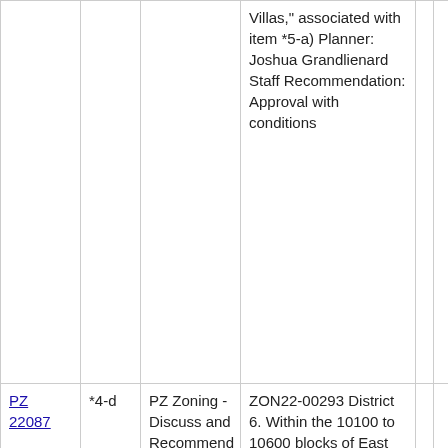|  |  |  |  |  |  |  |
| --- | --- | --- | --- | --- | --- | --- |
|  |  |  | Villas," associated with item *5-a) Planner: Joshua Grandlienard Staff Recommendation: Approval with conditions |  |  |  |
| PZ 22087 | *4-d | PZ Zoning - Discuss and Recommend | ZON22-00293 District 6. Within the 10100 to 10600 blocks of East Williams Field Road (south side) and within the 6100 to 6400 blocks of South 222nd Street (west side). (1.5+ acres) Located east of Crismon Road, south of Williams Field Road, and on the north side of the East 24 Gateway |  |  | No |